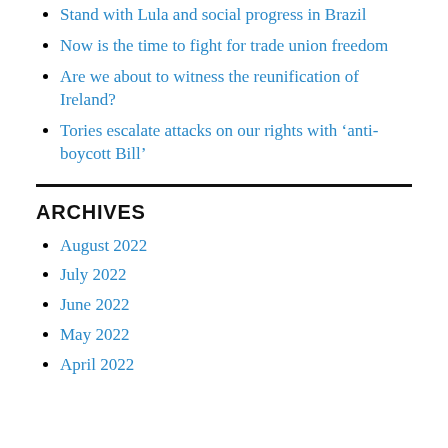Stand with Lula and social progress in Brazil
Now is the time to fight for trade union freedom
Are we about to witness the reunification of Ireland?
Tories escalate attacks on our rights with ‘anti-boycott Bill’
ARCHIVES
August 2022
July 2022
June 2022
May 2022
April 2022